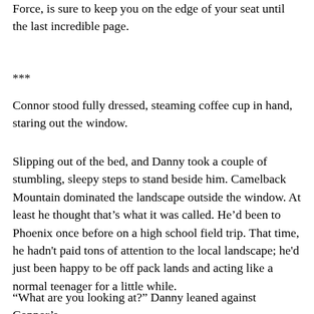Force, is sure to keep you on the edge of your seat until the last incredible page.
***
Connor stood fully dressed, steaming coffee cup in hand, staring out the window.
Slipping out of the bed, and Danny took a couple of stumbling, sleepy steps to stand beside him. Camelback Mountain dominated the landscape outside the window. At least he thought that’s what it was called. He’d been to Phoenix once before on a high school field trip. That time, he hadn't paid tons of attention to the local landscape; he'd just been happy to be off pack lands and acting like a normal teenager for a little while.
“What are you looking at?” Danny leaned against Connor’s